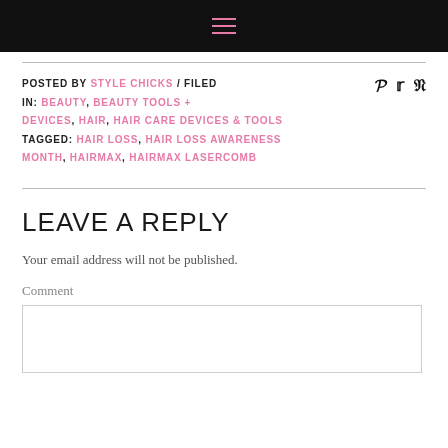≡ (hamburger menu icon)
POSTED BY STYLE CHICKS / FILED IN: BEAUTY, BEAUTY TOOLS + DEVICES, HAIR, HAIR CARE DEVICES & TOOLS TAGGED: HAIR LOSS, HAIR LOSS AWARENESS MONTH, HAIRMAX, HAIRMAX LASERCOMB
LEAVE A REPLY
Your email address will not be published.
Comment